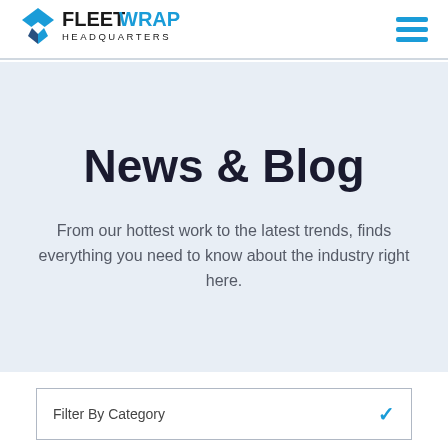[Figure (logo): Fleet Wrap Headquarters logo with blue diamond/house icon and bold text FLEETWRAP HEADQUARTERS]
News & Blog
From our hottest work to the latest trends, finds everything you need to know about the industry right here.
Filter By Category